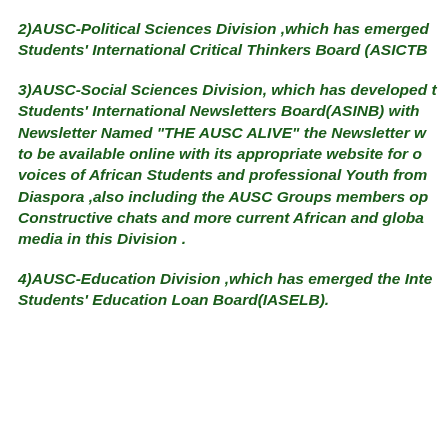2)AUSC-Political Sciences Division ,which has emerged Students' International Critical Thinkers Board (ASICTB
3)AUSC-Social Sciences Division, which has developed the Students' International Newsletters Board(ASINB) with Newsletter Named "THE AUSC ALIVE" the Newsletter w to be available online with its appropriate website for voices of African Students and professional Youth from Diaspora ,also including the AUSC Groups members op Constructive chats and more current African and globa media in this Division .
4)AUSC-Education Division ,which has emerged the Inte Students' Education Loan Board(IASELB).